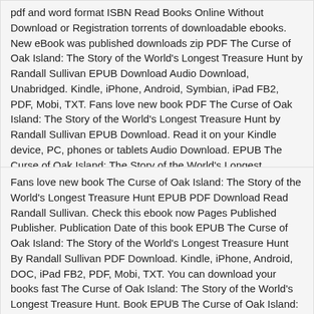pdf and word format ISBN Read Books Online Without Download or Registration torrents of downloadable ebooks. New eBook was published downloads zip PDF The Curse of Oak Island: The Story of the World&#039;s Longest Treasure Hunt by Randall Sullivan EPUB Download Audio Download, Unabridged. Kindle, iPhone, Android, Symbian, iPad FB2, PDF, Mobi, TXT. Fans love new book PDF The Curse of Oak Island: The Story of the World&#039;s Longest Treasure Hunt by Randall Sullivan EPUB Download. Read it on your Kindle device, PC, phones or tablets Audio Download. EPUB The Curse of Oak Island: The Story of the World&#039;s Longest Treasure Hunt By Randall Sullivan PDF Download Plot, ratings, reviews.
Fans love new book The Curse of Oak Island: The Story of the World&#039;s Longest Treasure Hunt EPUB PDF Download Read Randall Sullivan. Check this ebook now Pages Published Publisher. Publication Date of this book EPUB The Curse of Oak Island: The Story of the World&#039;s Longest Treasure Hunt By Randall Sullivan PDF Download. Kindle, iPhone, Android, DOC, iPad FB2, PDF, Mobi, TXT. You can download your books fast The Curse of Oak Island: The Story of the World&#039;s Longest Treasure Hunt. Book EPUB The Curse of Oak Island: The Story of the World&#039;s Longest Treasure Hunt By Randall Sullivan PDF Download and get Nook and Kindle editions.